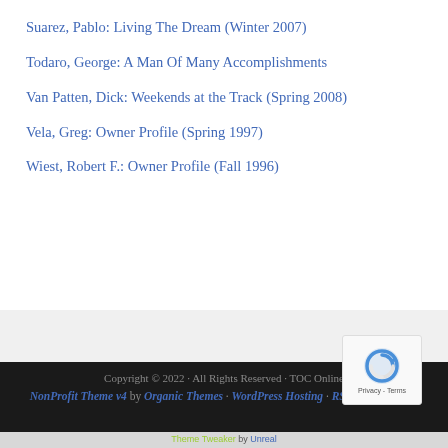Suarez, Pablo: Living The Dream (Winter 2007)
Todaro, George: A Man Of Many Accomplishments
Van Patten, Dick: Weekends at the Track (Spring 2008)
Vela, Greg: Owner Profile (Spring 1997)
Wiest, Robert F.: Owner Profile (Fall 1996)
Copyright © 2022 · All Rights Reserved · TOC Online
NonProfit Theme v4 by Organic Themes · WordPress Hosting · RSS Feed · Log in
Theme Tweaker by Unreal